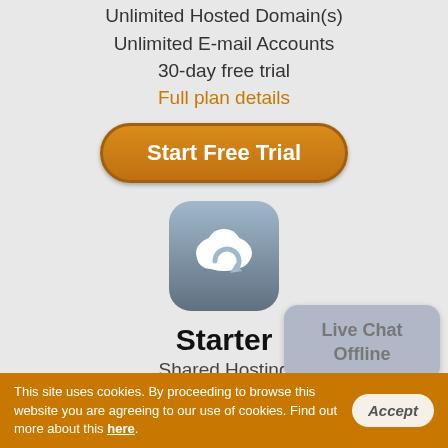Unlimited Hosted Domain(s)
Unlimited E-mail Accounts
30-day free trial
Full plan details
Start Free Trial
[Figure (logo): Cloud hosting icon: rounded square with blue-grey gradient background and white cloud with circular refresh arrow symbol]
Starter
Shared Hosting
$2.75 (per month)
Live Chat Offline
This site uses cookies. By proceeding to browse this website you are agreeing to our use of cookies. Find out more about this here. Accept